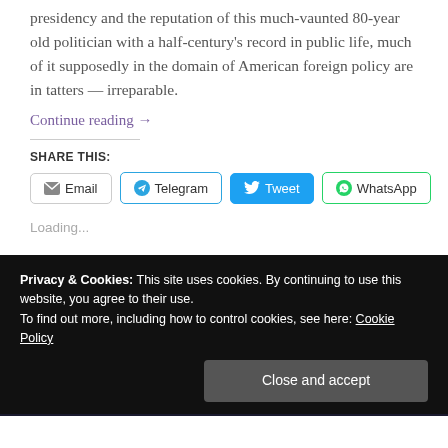presidency and the reputation of this much-vaunted 80-year old politician with a half-century's record in public life, much of it supposedly in the domain of American foreign policy are in tatters — irreparable.
Continue reading →
SHARE THIS:
Email  Telegram  Tweet  WhatsApp
Loading...
Privacy & Cookies: This site uses cookies. By continuing to use this website, you agree to their use.
To find out more, including how to control cookies, see here: Cookie Policy
Close and accept